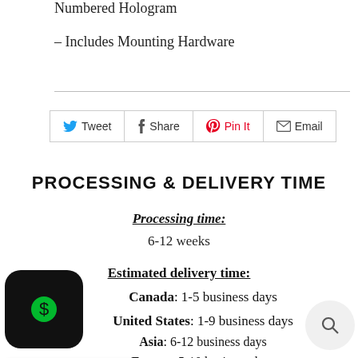Numbered Hologram
– Includes Mounting Hardware
Tweet  Share  Pin It  Email
PROCESSING & DELIVERY TIME
Processing time:
6-12 weeks
Estimated delivery time:
Canada: 1-5 business days
United States: 1-9 business days
Asia: 6-12 business days
Europe: 5-10 business days